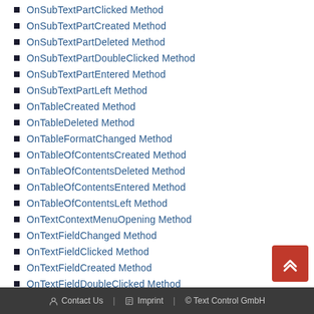OnSubTextPartClicked Method
OnSubTextPartCreated Method
OnSubTextPartDeleted Method
OnSubTextPartDoubleClicked Method
OnSubTextPartEntered Method
OnSubTextPartLeft Method
OnTableCreated Method
OnTableDeleted Method
OnTableFormatChanged Method
OnTableOfContentsCreated Method
OnTableOfContentsDeleted Method
OnTableOfContentsEntered Method
OnTableOfContentsLeft Method
OnTextContextMenuOpening Method
OnTextFieldChanged Method
OnTextFieldClicked Method
OnTextFieldCreated Method
OnTextFieldDoubleClicked Method
OnTextFieldDeleted Method
OnTextFieldEntered Method
Contact Us | Imprint | © Text Control GmbH